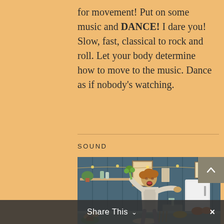for movement! Put on some music and DANCE! I dare you! Slow, fast, classical to rock and roll. Let your body determine how to move to the music. Dance as if nobody's watching.
SOUND
[Figure (photo): A person dancing joyfully in a kitchen, holding a vegetable up like a microphone, arms outstretched, mouth open in song. Kitchen background with shelves, plants, refrigerator, and fairy lights.]